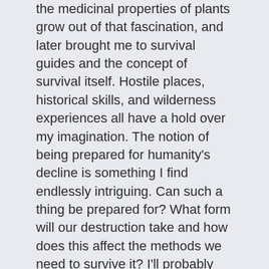the medicinal properties of plants grow out of that fascination, and later brought me to survival guides and the concept of survival itself. Hostile places, historical skills, and wilderness experiences all have a hold over my imagination. The notion of being prepared for humanity's decline is something I find endlessly intriguing. Can such a thing be prepared for? What form will our destruction take and how does this affect the methods we need to survive it? I'll probably keep reading and writing about it until we have an answer.
I wrote...
Struck by...